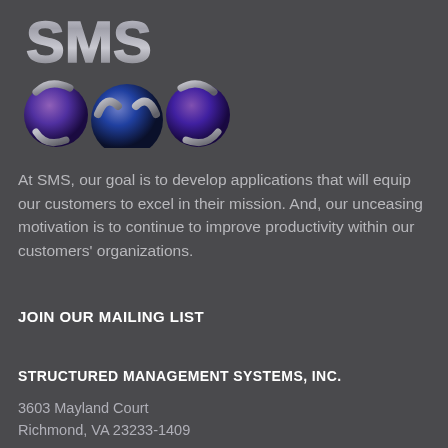[Figure (logo): SMS logo with metallic 3D letters 'SMS' above three purple/blue spheres with curved metallic swoosh elements, arranged as stylized '3i5' or planet forms]
At SMS, our goal is to develop applications that will equip our customers to excel in their mission. And, our unceasing motivation is to continue to improve productivity within our customers' organizations.
JOIN OUR MAILING LIST
STRUCTURED MANAGEMENT SYSTEMS, INC.
3603 Mayland Court
Richmond, VA 23233-1409